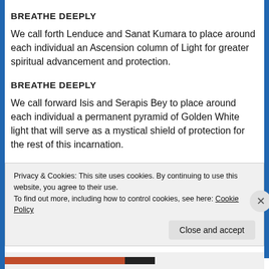BREATHE DEEPLY
We call forth Lenduce and Sanat Kumara to place around each individual an Ascension column of Light for greater spiritual advancement and protection.
BREATHE DEEPLY
We call forward Isis and Serapis Bey to place around each individual a permanent pyramid of Golden White light that will serve as a mystical shield of protection for the rest of this incarnation.
Privacy & Cookies: This site uses cookies. By continuing to use this website, you agree to their use.
To find out more, including how to control cookies, see here: Cookie Policy
Close and accept